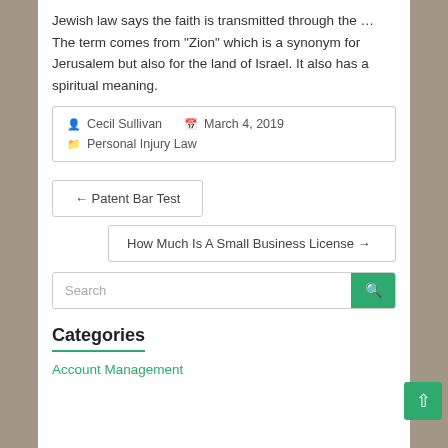Jewish law says the faith is transmitted through the ... The term comes from “Zion” which is a synonym for Jerusalem but also for the land of Israel. It also has a spiritual meaning.
Cecil Sullivan   March 4, 2019
Personal Injury Law
← Patent Bar Test
How Much Is A Small Business License →
Search
Categories
Account Management